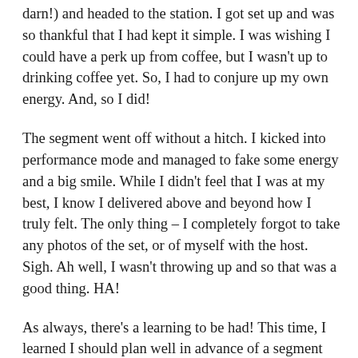darn!) and headed to the station. I got set up and was so thankful that I had kept it simple. I was wishing I could have a perk up from coffee, but I wasn't up to drinking coffee yet. So, I had to conjure up my own energy. And, so I did!
The segment went off without a hitch. I kicked into performance mode and managed to fake some energy and a big smile. While I didn't feel that I was at my best, I know I delivered above and beyond how I truly felt. The only thing – I completely forgot to take any photos of the set, or of myself with the host. Sigh. Ah well, I wasn't throwing up and so that was a good thing. HA!
As always, there's a learning to be had! This time, I learned I should plan well in advance of a segment (although I do work well under time pressures), it's good to be flexible, and it's okay to simplify when you need to. I also learned: I can do anything cheerfully for about 4 minutes — even without coffee.